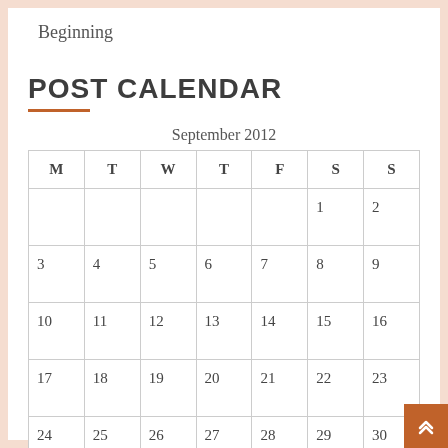Beginning
POST CALENDAR
| M | T | W | T | F | S | S |
| --- | --- | --- | --- | --- | --- | --- |
|  |  |  |  |  | 1 | 2 |
| 3 | 4 | 5 | 6 | 7 | 8 | 9 |
| 10 | 11 | 12 | 13 | 14 | 15 | 16 |
| 17 | 18 | 19 | 20 | 21 | 22 | 23 |
| 24 | 25 | 26 | 27 | 28 | 29 | 30 |